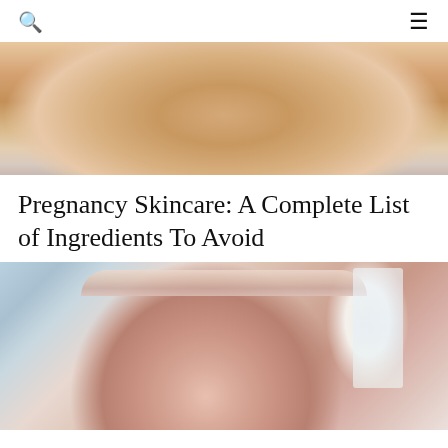[Figure (photo): Close-up of a pregnant belly with light skin tone, wearing a white top, soft warm lighting]
Pregnancy Skincare: A Complete List of Ingredients To Avoid
[Figure (photo): Woman wearing a pink striped headband/hair wrap, applying skincare to her face with a cotton pad, looking into camera, bathroom setting with window in background]